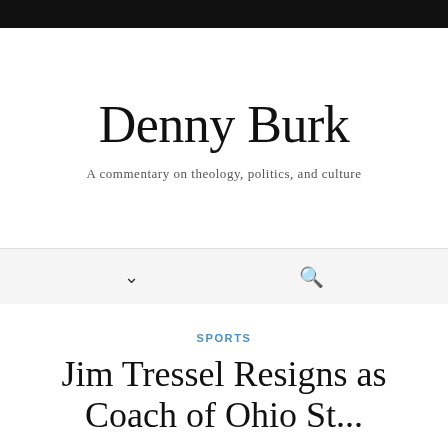Denny Burk
A commentary on theology, politics, and culture
SPORTS
Jim Tressel Resigns as Coach of Ohio St...